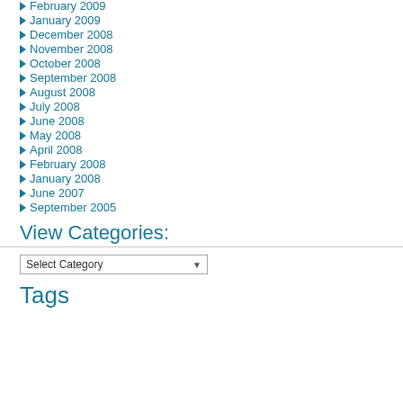February 2009
January 2009
December 2008
November 2008
October 2008
September 2008
August 2008
July 2008
June 2008
May 2008
April 2008
February 2008
January 2008
June 2007
September 2005
View Categories:
Select Category
Tags